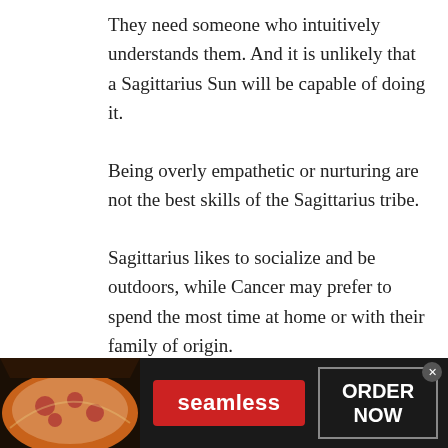They need someone who intuitively understands them. And it is unlikely that a Sagittarius Sun will be capable of doing it.
Being overly empathetic or nurturing are not the best skills of the Sagittarius tribe.
Sagittarius likes to socialize and be outdoors, while Cancer may prefer to spend the most time at home or with their family of origin.
[Figure (infographic): Seamless food delivery advertisement banner with pizza image on left, red Seamless logo button in center, and ORDER NOW button on right with a close (x) button]